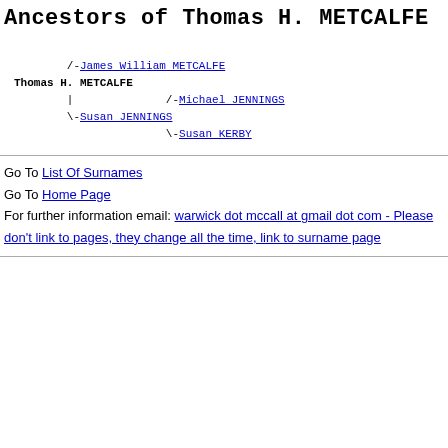Ancestors of Thomas H. METCALFE
[Figure (other): Ancestor tree diagram showing: /-James William METCALFE, Thomas H. METCALFE, | /-Michael JENNINGS, \-Susan JENNINGS, \-Susan KERBY]
Go To List Of Surnames
Go To Home Page
For further information email: warwick dot mccall at gmail dot com - Please don't link to pages, they change all the time, link to surname page